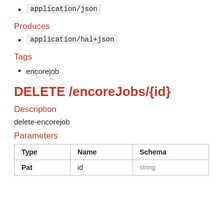application/json
Produces
application/hal+json
Tags
encorejob
DELETE /encoreJobs/{id}
Description
delete-encorejob
Parameters
| Type | Name | Schema |
| --- | --- | --- |
| Pat | id | string |